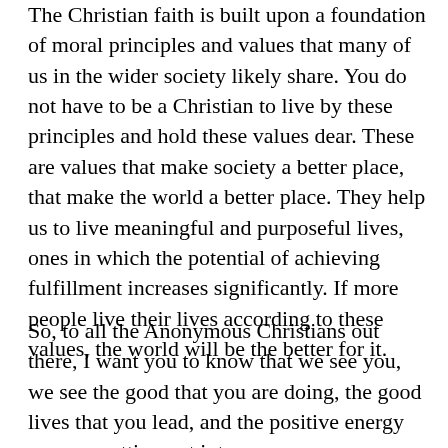The Christian faith is built upon a foundation of moral principles and values that many of us in the wider society likely share. You do not have to be a Christian to live by these principles and hold these values dear. These are values that make society a better place, that make the world a better place. They help us to live meaningful and purposeful lives, ones in which the potential of achieving fulfillment increases significantly. If more people live their lives according to these values, the world will be the better for it.
So, to all the Anonymous Christians out there, I want you to know that we see you, we see the good that you are doing, the good lives that you lead, and the positive energy you are putting out into